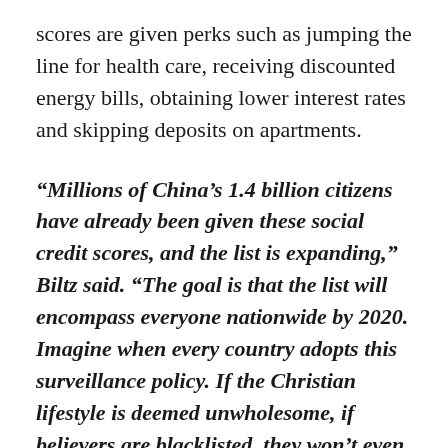scores are given perks such as jumping the line for health care, receiving discounted energy bills, obtaining lower interest rates and skipping deposits on apartments.
“Millions of China’s 1.4 billion citizens have already been given these social credit scores, and the list is expanding,” Biltz said. “The goal is that the list will encompass everyone nationwide by 2020. Imagine when every country adopts this surveillance policy. If the Christian lifestyle is deemed unwholesome, if believers are blacklisted, they won’t even be able to access the internet or buy food. Those who control the data will control all of human life. The computing